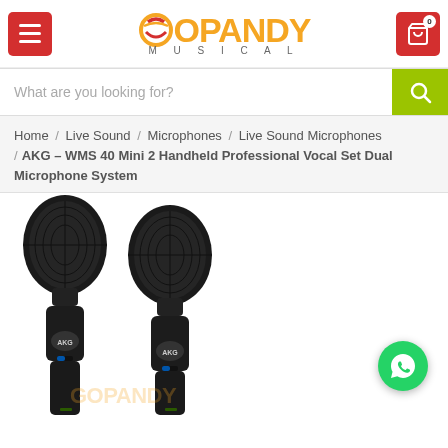[Figure (logo): GoPandy Musical logo with orange text and red/orange circular icon]
What are you looking for?
Home / Live Sound / Microphones / Live Sound Microphones / AKG – WMS 40 Mini 2 Handheld Professional Vocal Set Dual Microphone System
[Figure (photo): Two AKG black handheld wireless microphones side by side, showing the heads and upper body with AKG logo badges]